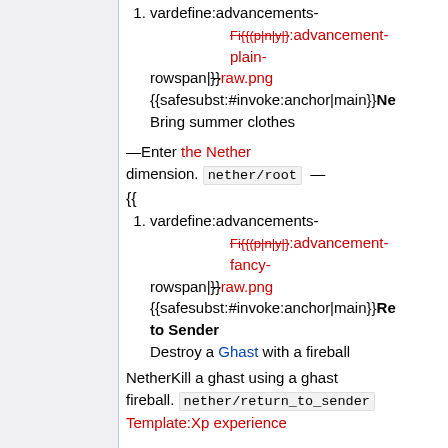vardefine:advancements- Fi{{(p|n|y|}:advancement-plain- rowspan|}}raw.png {{safesubst:#invoke:anchor|main}}Ne Bring summer clothes
—Enter the Nether dimension. nether/root —
{{
vardefine:advancements- Fi{{(p|n|y|}:advancement-fancy- rowspan|}}raw.png {{safesubst:#invoke:anchor|main}}Re to Sender Destroy a Ghast with a fireball
NetherKill a ghast using a ghast fireball. nether/return_to_sender
Template:Xp experience